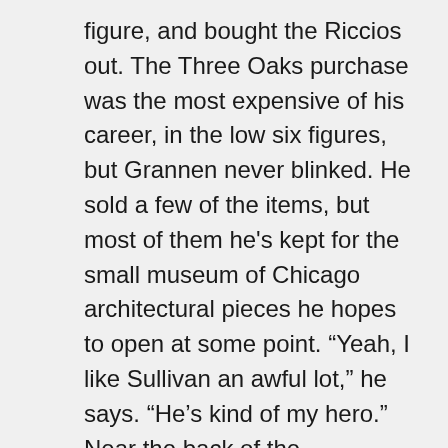figure, and bought the Riccios out. The Three Oaks purchase was the most expensive of his career, in the low six figures, but Grannen never blinked. He sold a few of the items, but most of them he's kept for the small museum of Chicago architectural pieces he hopes to open at some point. “Yeah, I like Sullivan an awful lot,” he says. “He’s kind of my hero.” Near the back of the showroom, suspended from the ceiling on 15 iron rods, hangs a muticolored dome of wrought iron and stained glass that’s over 16 feet in diameter and 6 feet deep. The center section, the size of a platter and framed in iron, is a rosette of red, gold, and blue; the 16 glass sections that form the bowl are a